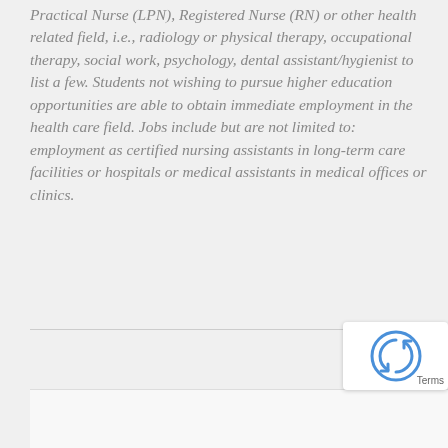Practical Nurse (LPN), Registered Nurse (RN) or other health related field, i.e., radiology or physical therapy, occupational therapy, social work, psychology, dental assistant/hygienist to list a few. Students not wishing to pursue higher education opportunities are able to obtain immediate employment in the health care field. Jobs include but are not limited to: employment as certified nursing assistants in long-term care facilities or hospitals or medical assistants in medical offices or clinics.